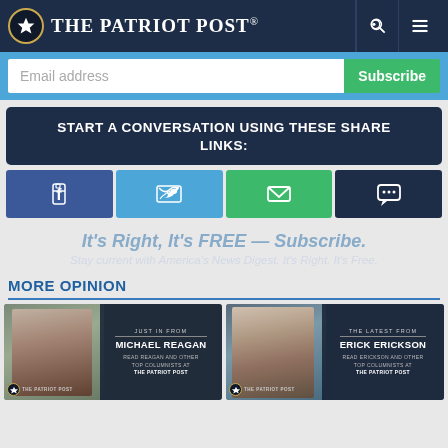The Patriot Post
Email address | Subscribe
START A CONVERSATION USING THESE SHARE LINKS:
[Figure (infographic): Social share buttons: Facebook, Twitter, Email, Comment]
It's Right, It's FREE — Subscribe. Stay current with America's News Digest. It's Right. It's Free.
MORE OPINION
[Figure (photo): Card: JUST IN FROM MICHAEL REAGAN — READ REAGAN AND OTHER TOP COLUMNISTS AT THE PATRIOT POST]
[Figure (photo): Card: THE LATEST FROM ERICK ERICKSON — READ ERICKSON AND OTHER TOP COLUMNISTS AT THE PATRIOT POST]